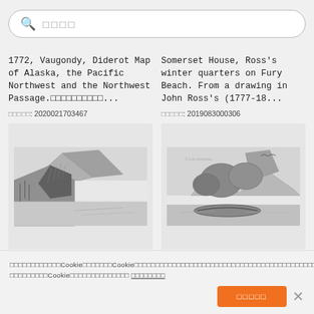検索ワード（search input placeholder）
1772, Vaugondy, Diderot Map of Alaska, the Pacific Northwest and the Northwest Passage.　　　　　　　　...
登録番号: 2020021703467
[Figure (illustration): Black and white sketch/engraving of a rocky mountain landscape with cliffs and trees]
Somerset House, Ross's winter quarters on Fury Beach. From a drawing in John Ross's (1777-18...
登録番号: 2019083000306
[Figure (illustration): Black and white sketch of a boat/canoe near rocky shoreline with mountains and birds in background]
当サイトではCookieを使用します。Cookieの使用に関する詳細については、プライバシーポリシーをご覧ください。サイトの利用を続けることで、Cookieの使用に同意したものとみなされます。 詳細はこちら
同意して続ける